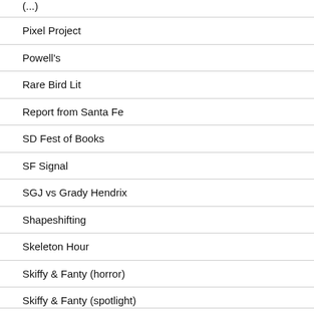Pixel Project
Powell's
Rare Bird Lit
Report from Santa Fe
SD Fest of Books
SF Signal
SGJ vs Grady Hendrix
Shapeshifting
Skeleton Hour
Skiffy & Fanty (horror)
Skiffy & Fanty (spotlight)